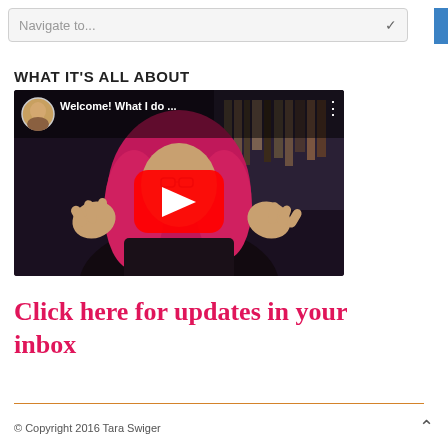Navigate to...
WHAT IT'S ALL ABOUT
[Figure (screenshot): YouTube video thumbnail showing a woman with bright pink hair and hands raised, with a YouTube play button overlay. Video title reads 'Welcome! What I do ...']
Click here for updates in your inbox
© Copyright 2016 Tara Swiger